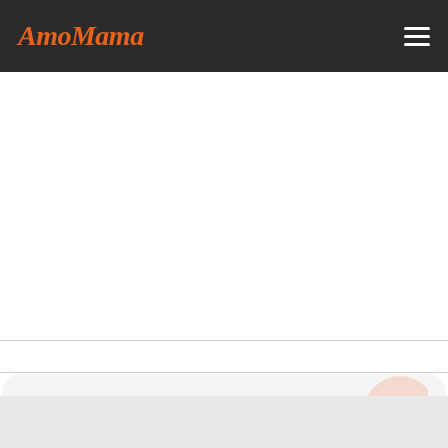AmoMama
Please fill in your e-mail so we can share